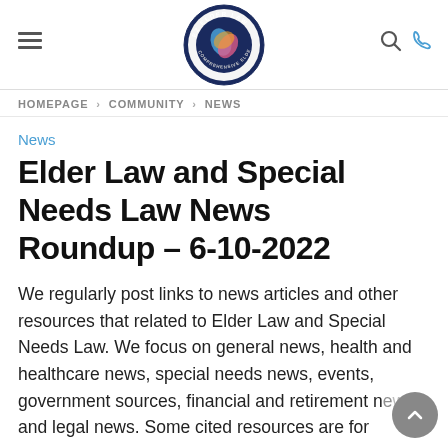EZ Elder Law — navigation header with logo, hamburger menu, search and phone icons
HOMEPAGE > COMMUNITY > NEWS
News
Elder Law and Special Needs Law News Roundup – 6-10-2022
We regularly post links to news articles and other resources that related to Elder Law and Special Needs Law. We focus on general news, health and healthcare news, special needs news, events, government sources, financial and retirement news and legal news. Some cited resources are for